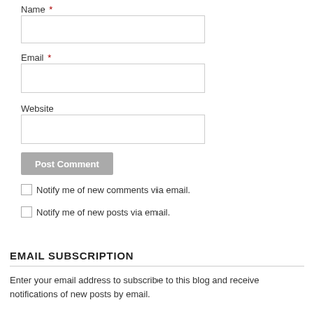Name *
Email *
Website
Post Comment
Notify me of new comments via email.
Notify me of new posts via email.
EMAIL SUBSCRIPTION
Enter your email address to subscribe to this blog and receive notifications of new posts by email.